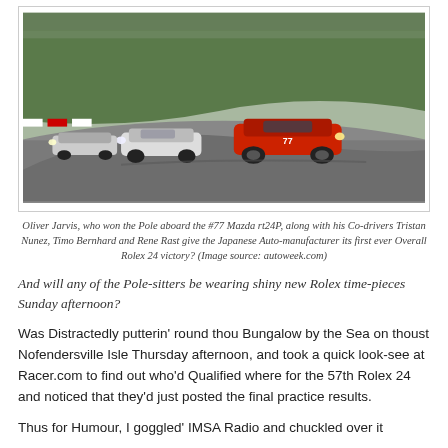[Figure (photo): Racing cars on a wet track, with a red prototype car leading two white cars with headlights on around a curve.]
Oliver Jarvis, who won the Pole aboard the #77 Mazda rt24P, along with his Co-drivers Tristan Nunez, Timo Bernhard and Rene Rast give the Japanese Auto-manufacturer its first ever Overall Rolex 24 victory? (Image source: autoweek.com)
And will any of the Pole-sitters be wearing shiny new Rolex time-pieces Sunday afternoon?
Was Distractedly putterin' round thou Bungalow by the Sea on thoust Nofendersville Isle Thursday afternoon, and took a quick look-see at Racer.com to find out who'd Qualified where for the 57th Rolex 24 and noticed that they'd just posted the final practice results.
Thus for Humour, I goggled' IMSA Radio and chuckled over it